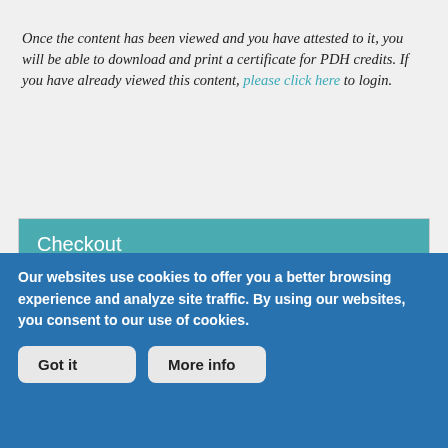Once the content has been viewed and you have attested to it, you will be able to download and print a certificate for PDH credits. If you have already viewed this content, please click here to login.
Checkout
CHECKOUT
Do you already own this?
Log In for instructions on accessing this content
Our websites use cookies to offer you a better browsing experience and analyze site traffic. By using our websites, you consent to our use of cookies.
Got it
More info